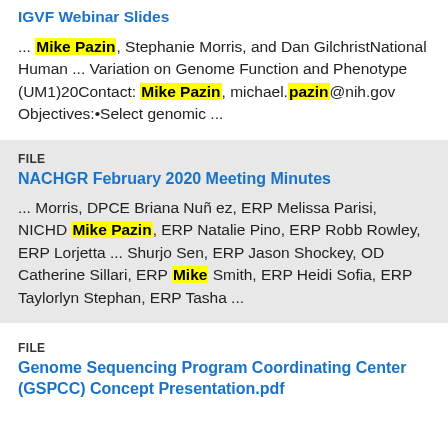IGVF Webinar Slides
... Mike Pazin, Stephanie Morris, and Dan GilchristNational Human ... Variation on Genome Function and Phenotype (UM1)20Contact: Mike Pazin, michael.pazin@nih.gov Objectives:•Select genomic ...
FILE
NACHGR February 2020 Meeting Minutes
... Morris, DPCE Briana Nuñ ez, ERP Melissa Parisi, NICHD Mike Pazin, ERP Natalie Pino, ERP Robb Rowley, ERP Lorjetta ... Shurjo Sen, ERP Jason Shockey, OD Catherine Sillari, ERP Mike Smith, ERP Heidi Sofia, ERP Taylorlyn Stephan, ERP Tasha ...
FILE
Genome Sequencing Program Coordinating Center (GSPCC) Concept Presentation.pdf